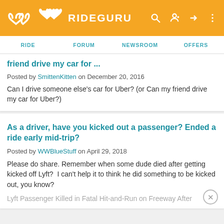RIDEGURU — RIDE | FORUM | NEWSROOM | OFFERS
friend drive my car for …
Posted by SmittenKitten on December 20, 2016
Can I drive someone else's car for Uber? (or Can my friend drive my car for Uber?)
As a driver, have you kicked out a passenger? Ended a ride early mid-trip?
Posted by WWBlueStuff on April 29, 2018
Please do share. Remember when some dude died after getting kicked off Lyft?  I can't help it to think he did something to be kicked out, you know?
Lyft Passenger Killed in Fatal Hit-and-Run on Freeway After